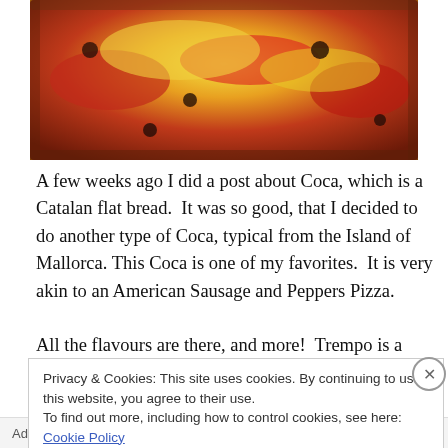[Figure (photo): Close-up photo of a colorful food dish — a Mallorca-style Coca (flat bread) topped with vibrant peppers, sausage, cheese, and tomatoes in red, yellow, and dark colors]
A few weeks ago I did a post about Coca, which is a Catalan flat bread.  It was so good, that I decided to do another type of Coca, typical from the Island of Mallorca.  This Coca is one of my favorites.  It is very akin to an American Sausage and Peppers Pizza.
All the flavours are there, and more!  Trempo is a salad
Privacy & Cookies: This site uses cookies. By continuing to use this website, you agree to their use.
To find out more, including how to control cookies, see here: Cookie Policy
Close and accept
Advertisements